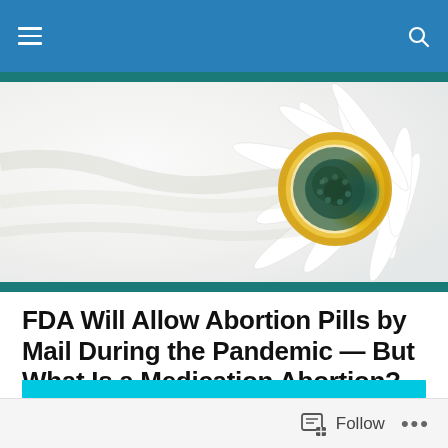Navigation bar with hamburger menu and search icon
[Figure (photo): Close-up photo of a white daisy flower with yellow and green center, on a light background]
FDA Will Allow Abortion Pills by Mail During the Pandemic — But What Is a Medication Abortion?
Posted by laurasmith20200
[Figure (other): Cyan/teal banner bar]
Follow button with icon and more options (...)